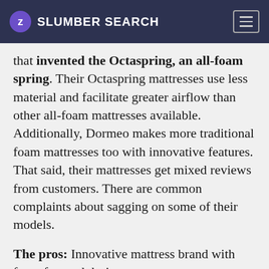SLUMBER SEARCH
that invented the Octaspring, an all-foam spring. Their Octaspring mattresses use less material and facilitate greater airflow than other all-foam mattresses available. Additionally, Dormeo makes more traditional foam mattresses too with innovative features. That said, their mattresses get mixed reviews from customers. There are common complaints about sagging on some of their models.
The pros: Innovative mattress brand with foam focused designs.
The cons: Some problems reported b...